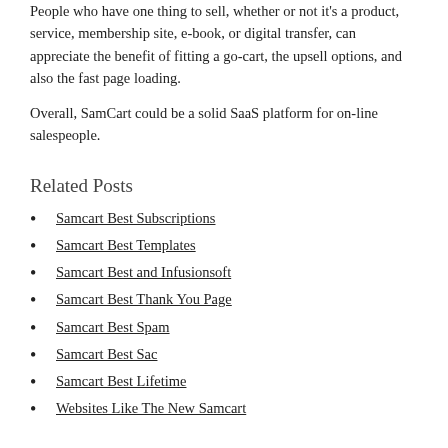People who have one thing to sell, whether or not it's a product, service, membership site, e-book, or digital transfer, can appreciate the benefit of fitting a go-cart, the upsell options, and also the fast page loading.
Overall, SamCart could be a solid SaaS platform for on-line salespeople.
Related Posts
Samcart Best Subscriptions
Samcart Best Templates
Samcart Best and Infusionsoft
Samcart Best Thank You Page
Samcart Best Spam
Samcart Best Sac
Samcart Best Lifetime
Websites Like The New Samcart